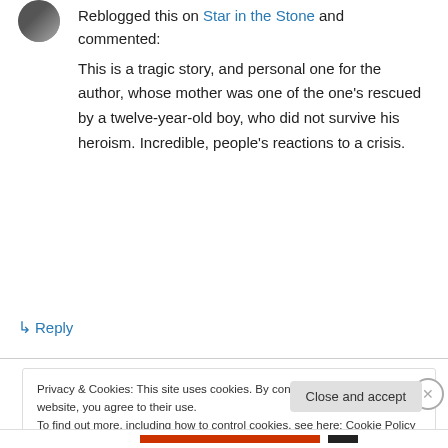[Figure (photo): Circular avatar photo of a person]
Reblogged this on Star in the Stone and commented:
This is a tragic story, and personal one for the author, whose mother was one of the one's rescued by a twelve-year-old boy, who did not survive his heroism. Incredible, people's reactions to a crisis.
↳ Reply
Privacy & Cookies: This site uses cookies. By continuing to use this website, you agree to their use. To find out more, including how to control cookies, see here: Cookie Policy
Close and accept